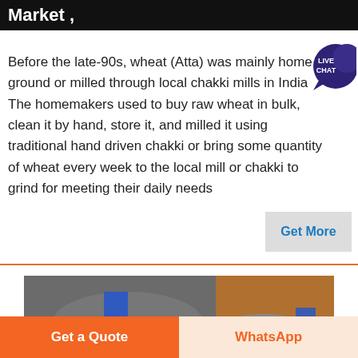Market ,
Before the late-90s, wheat (Atta) was mainly home ground or milled through local chakki mills in India The homemakers used to buy raw wheat in bulk, clean it by hand, store it, and milled it using traditional hand driven chakki or bring some quantity of wheat every week to the local mill or chakki to grind for meeting their daily needs
[Figure (other): Live Chat speech bubble badge with dark blue/purple color and white text reading LIVE CHAT]
[Figure (other): Get More button - grey rectangle with blue text 'Get More']
[Figure (photo): Industrial chakki/flour mill machinery — large grey metal grinding mill units with blue stripe/band visible, photographed up close]
Get a Quote | WhatsApp